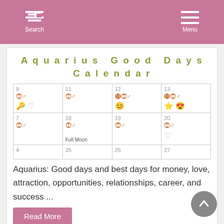Search  Menu
Aquarius Good Days Calendar
| 9 | 11 | 12 | 13 |
| 7 | 18 | 19 | 20 |
| 4 | 25 | 26 | 27 |
Aquarius: Good days and best days for money, love, attraction, opportunities, relationships, career, and success ...
Read More